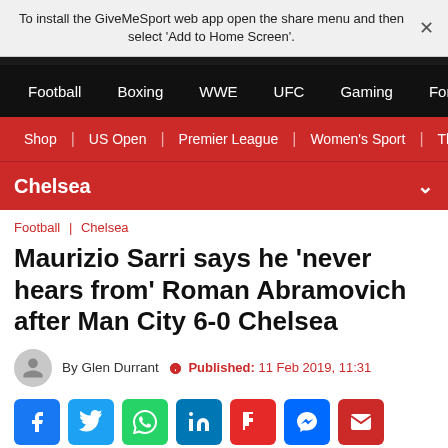To install the GiveMeSport web app open the share menu and then select 'Add to Home Screen'.
Football | Boxing | WWE | UFC | Gaming | Formula 1
Shop | US Open | Premier League | Women's Sport | The Fo
Chelsea
Football | Chelsea
Maurizio Sarri says he 'never hears from' Roman Abramovich after Man City 6-0 Chelsea
By Glen Durrant  Published: 11 Feb 2019, 11:31
[Figure (other): Social sharing icons: Facebook, Twitter, WhatsApp, LinkedIn, Flipboard, Messenger, Email]